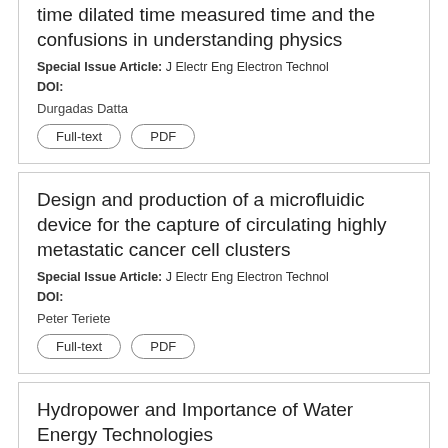time dilated time measured time and the confusions in understanding physics
Special Issue Article: J Electr Eng Electron Technol
DOI:
Durgadas Datta
Full-text  PDF
Design and production of a microfluidic device for the capture of circulating highly metastatic cancer cell clusters
Special Issue Article: J Electr Eng Electron Technol
DOI:
Peter Teriete
Full-text  PDF
Hydropower and Importance of Water Energy Technologies
Commentary: J Electr Eng Electron Technol
DOI: